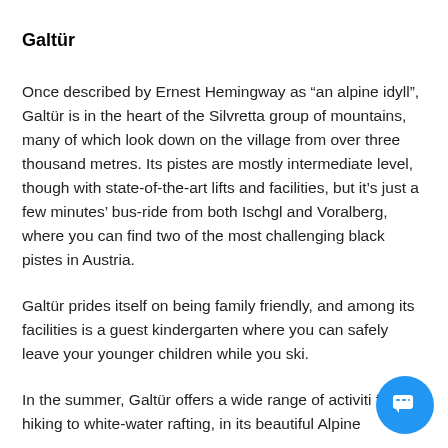Galtür
Once described by Ernest Hemingway as “an alpine idyll”, Galtür is in the heart of the Silvretta group of mountains, many of which look down on the village from over three thousand metres. Its pistes are mostly intermediate level, though with state-of-the-art lifts and facilities, but it’s just a few minutes’ bus-ride from both Ischgl and Voralberg, where you can find two of the most challenging black pistes in Austria.
Galtür prides itself on being family friendly, and among its facilities is a guest kindergarten where you can safely leave your younger children while you ski.
In the summer, Galtür offers a wide range of activiti from hiking to white-water rafting, in its beautiful Alpine